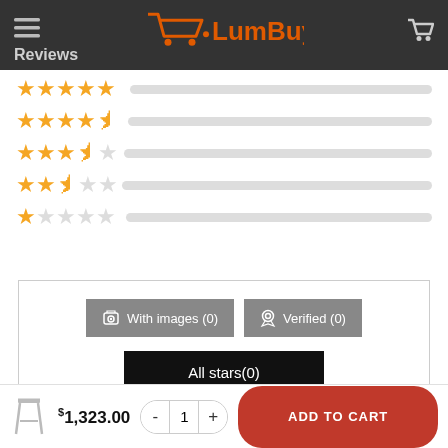LumBuy - Reviews
[Figure (infographic): Star rating breakdown rows: 5 stars, 4.5 stars, 3.5 stars, 2.5 stars, 1 star — each with a gray progress bar]
[Figure (screenshot): Filter buttons: With images (0), Verified (0), All stars(0)]
There are no reviews yet.
$1,323.00  -  1  +  ADD TO CART